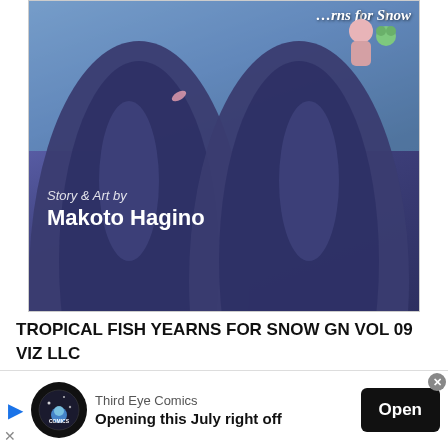[Figure (illustration): Book cover of 'Tropical Fish Yearns for Snow Vol. 09' by Makoto Hagino. Dark blue/purple anime-style illustration showing characters in dark robes/cloaks. Text reads 'Story & Art by Makoto Hagino'. Title text visible at top right.]
TROPICAL FISH YEARNS FOR SNOW GN VOL 09
VIZ LLC
MAY221956
(W) Makoto Hagino (A) Makoto Hagino
Even though life is changing for Koyuki and Konatsu, the Aquarium Club and the little salamander that brought them together will remain a special, immutable link in the days ahead. As autumn arrives and Koyuki's graduation looms, Konatsu summons all her courage to confront one lingering
[Figure (screenshot): Advertisement banner for Third Eye Comics. Shows a circular logo with space/comic theme, text 'Third Eye Comics', 'Opening this July right off', and a black 'Open' button.]